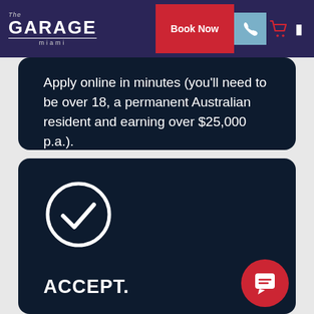The Garage Miami — Book Now navigation bar
Apply online in minutes (you'll need to be over 18, a permanent Australian resident and earning over $25,000 p.a.).
[Figure (illustration): White circle with checkmark icon on dark navy background]
ACCEPT.
Upon approval, you'll receive an SMS with